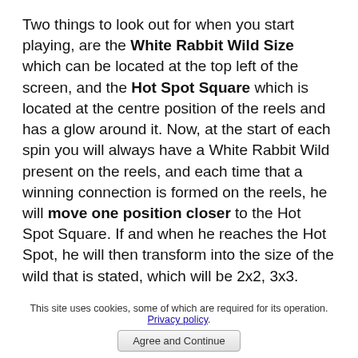Two things to look out for when you start playing, are the White Rabbit Wild Size which can be located at the top left of the screen, and the Hot Spot Square which is located at the centre position of the reels and has a glow around it. Now, at the start of each spin you will always have a White Rabbit Wild present on the reels, and each time that a winning connection is formed on the reels, he will move one position closer to the Hot Spot Square. If and when he reaches the Hot Spot, he will then transform into the size of the wild that is stated, which will be 2x2, 3x3.

Furthermore, each win that the Rabbit Wild is
This site uses cookies, some of which are required for its operation. Privacy policy. Agree and Continue